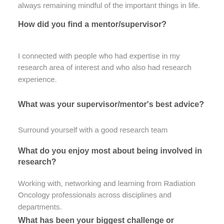always remaining mindful of the important things in life.
How did you find a mentor/supervisor?
I connected with people who had expertise in my research area of interest and who also had research experience.
What was your supervisor/mentor's best advice?
Surround yourself with a good research team
What do you enjoy most about being involved in research?
Working with, networking and learning from Radiation Oncology professionals across disciplines and departments.
What has been your biggest challenge or barriers to